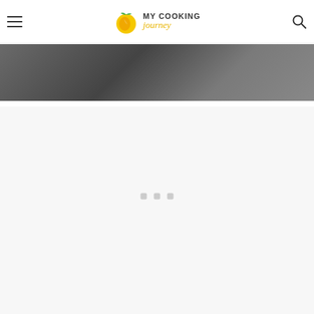[Figure (logo): My Cooking Journey logo with orange/yellow citrus fruit icon and text]
[Figure (photo): Dark background photo strip showing cooking/food items partially visible]
[Figure (other): Loading spinner area with three small gray square dots indicating content loading]